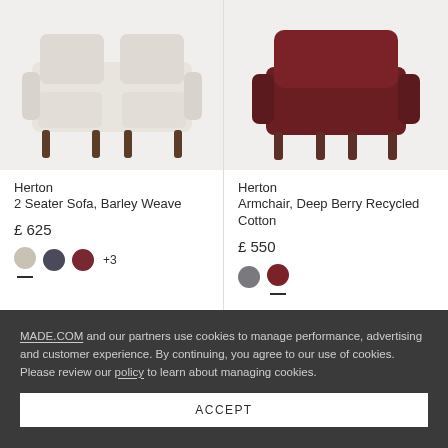[Figure (photo): Top portion of a light beige/barley weave 2-seater sofa with dark wooden legs on a light grey background]
[Figure (photo): Top portion of a deep berry/dark red armchair with dark wooden legs on a light grey background]
Herton
2 Seater Sofa, Barley Weave
£ 625
Herton
Armchair, Deep Berry Recycled Cotton
£ 550
MADE.COM and our partners use cookies to manage performance, advertising and customer experience. By continuing, you agree to our use of cookies. Please review our policy to learn about managing cookies.
ACCEPT